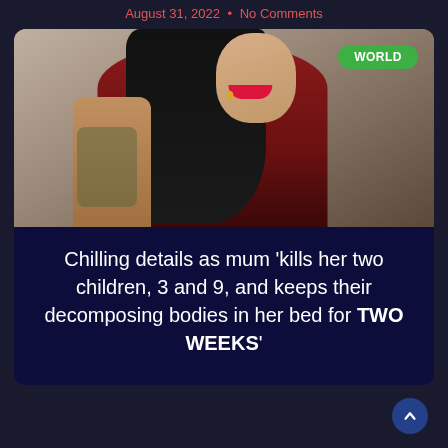August 31, 2022 • No Comments
[Figure (photo): Woman with long black hair, red lipstick, wearing a dark red dress with tattoos on her arm and shoulder. A green 'WORLD' badge is visible in the upper right corner of the image.]
Chilling details as mum 'kills her two children, 3 and 9, and keeps their decomposing bodies in her bed for TWO WEEKS'